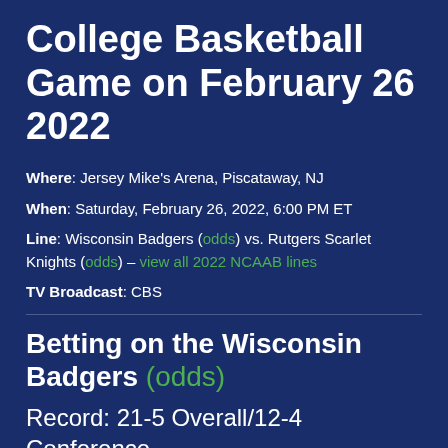College Basketball Game on February 26 2022
Where: Jersey Mike's Arena, Piscataway, NJ
When: Saturday, February 26, 2022, 6:00 PM ET
Line: Wisconsin Badgers (odds) vs. Rutgers Scarlet Knights (odds) – view all 2022 NCAAB lines
TV Broadcast: CBS
Betting on the Wisconsin Badgers (odds)
Record: 21-5 Overall/12-4 Conference
Wisconsin is coming off a 77-63 home win over the Michigan Wolverines last Sunday, making it two